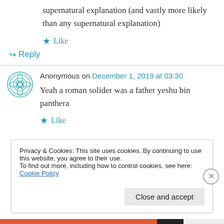supernatural explanation (and vastly more likely than any supernatural explanation)
★ Like
↪ Reply
Anonymous on December 1, 2019 at 03:30
Yeah a roman solider was a father yeshu bin panthera
★ Like
Privacy & Cookies: This site uses cookies. By continuing to use this website, you agree to their use.
To find out more, including how to control cookies, see here: Cookie Policy
Close and accept